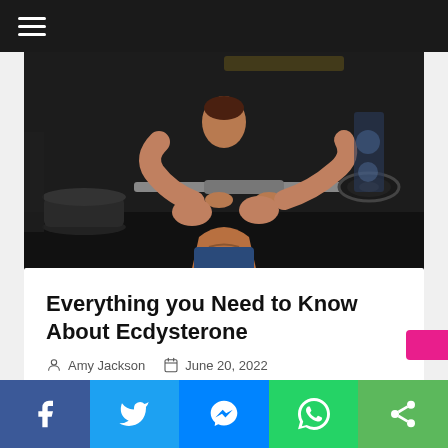[Figure (photo): Muscular shirtless man lifting a barbell in a gym, dark background]
Everything you Need to Know About Ecdysterone
Amy Jackson   June 20, 2022
[Figure (infographic): Social sharing bar with Facebook, Twitter, Messenger, WhatsApp, and Share buttons]